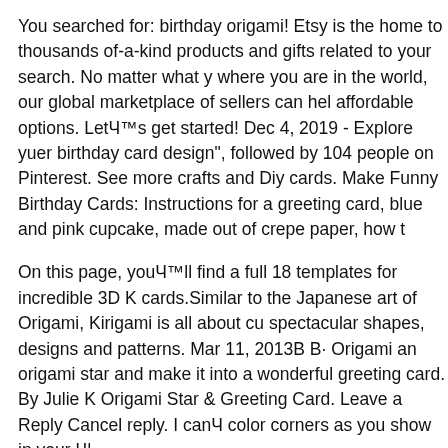You searched for: birthday origami! Etsy is the home to thousands of-a-kind products and gifts related to your search. No matter what y where you are in the world, our global marketplace of sellers can hel affordable options. LetвЂ™s get started! Dec 4, 2019 - Explore yuer birthday card design", followed by 104 people on Pinterest. See more crafts and Diy cards. Make Funny Birthday Cards: Instructions for a greeting card, blue and pink cupcake, made out of crepe paper, how t
On this page, youвЂ™ll find a full 18 templates for incredible 3D K cards.Similar to the Japanese art of Origami, Kirigami is all about cu spectacular shapes, designs and patterns. Mar 11, 2013В В· Origami an origami star and make it into a wonderful greeting card. By Julie K Origami Star & Greeting Card. Leave a Reply Cancel reply. I canвЂ color corners as you show in your вЂ¦
Diy Origami Birthday Card is free HD wallpaper. This wallpaper wa 2017 upload by admin in Card Ideas. Diy Origami Birthday Card вЂ Encouraged to be able to my website, in this time period IвЂ™m goi Origami envelope. In need of an easy to make envelope for a gift? M